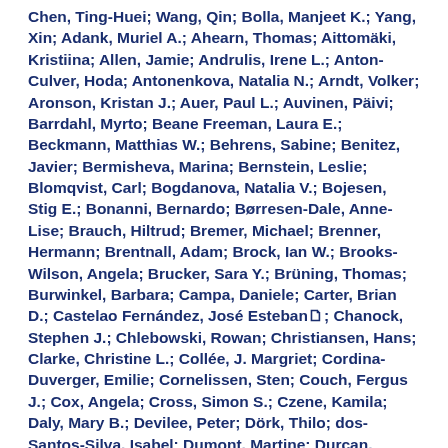Chen, Ting-Huei; Wang, Qin; Bolla, Manjeet K.; Yang, Xin; Adank, Muriel A.; Ahearn, Thomas; Aittomäki, Kristiina; Allen, Jamie; Andrulis, Irene L.; Anton-Culver, Hoda; Antonenkova, Natalia N.; Arndt, Volker; Aronson, Kristan J.; Auer, Paul L.; Auvinen, Päivi; Barrdahl, Myrto; Beane Freeman, Laura E.; Beckmann, Matthias W.; Behrens, Sabine; Benitez, Javier; Bermisheva, Marina; Bernstein, Leslie; Blomqvist, Carl; Bogdanova, Natalia V.; Bojesen, Stig E.; Bonanni, Bernardo; Børresen-Dale, Anne-Lise; Brauch, Hiltrud; Bremer, Michael; Brenner, Hermann; Brentnall, Adam; Brock, Ian W.; Brooks-Wilson, Angela; Brucker, Sara Y.; Brüning, Thomas; Burwinkel, Barbara; Campa, Daniele; Carter, Brian D.; Castelao Fernández, José Esteban; Chanock, Stephen J.; Chlebowski, Rowan; Christiansen, Hans; Clarke, Christine L.; Collée, J. Margriet; Cordina-Duverger, Emilie; Cornelissen, Sten; Couch, Fergus J.; Cox, Angela; Cross, Simon S.; Czene, Kamila; Daly, Mary B.; Devilee, Peter; Dörk, Thilo; dos-Santos-Silva, Isabel; Dumont, Martine; Durcan, Lorraine; Dwek, Miriam; Eccles, Diana M.; Ekici, Arif B.; Eliassen, A. Heather; Ellberg, Carolina; Engel, Christoph; Eriksson, Mikaela; Evans, D. Gareth; Fasching, Peter A.; Figueroa,